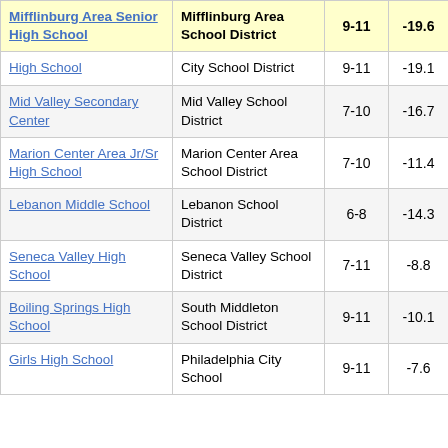| School | District | Grades | Score |
| --- | --- | --- | --- |
| Mifflinburg Area Senior High School | Mifflinburg Area School District | 9-11 | -19.6 |
| High School | City School District | 9-11 | -19.1 |
| Mid Valley Secondary Center | Mid Valley School District | 7-10 | -16.7 |
| Marion Center Area Jr/Sr High School | Marion Center Area School District | 7-10 | -11.4 |
| Lebanon Middle School | Lebanon School District | 6-8 | -14.3 |
| Seneca Valley High School | Seneca Valley School District | 7-11 | -8.8 |
| Boiling Springs High School | South Middleton School District | 9-11 | -10.1 |
| Girls High School | Philadelphia City School | 9-11 | -7.6 |